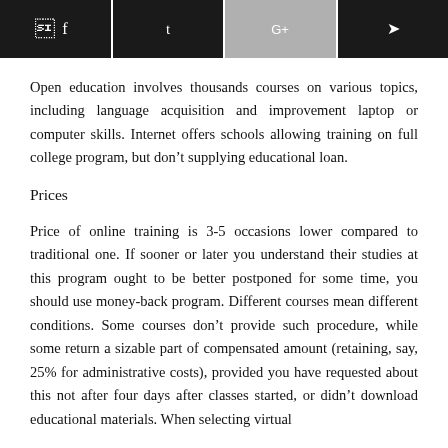[Figure (other): Social share buttons bar with Facebook, Twitter, Google+, and share icons on dark/grey backgrounds]
Open education involves thousands courses on various topics, including language acquisition and improvement laptop or computer skills. Internet offers schools allowing training on full college program, but don't supplying educational loan.
Prices
Price of online training is 3-5 occasions lower compared to traditional one. If sooner or later you understand their studies at this program ought to be better postponed for some time, you should use money-back program. Different courses mean different conditions. Some courses don't provide such procedure, while some return a sizable part of compensated amount (retaining, say, 25% for administrative costs), provided you have requested about this not after four days after classes started, or didn't download educational materials. When selecting virtual